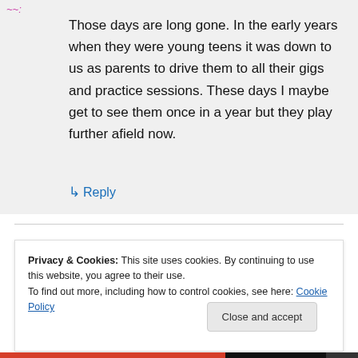~~:
Those days are long gone. In the early years when they were young teens it was down to us as parents to drive them to all their gigs and practice sessions. These days I maybe get to see them once in a year but they play further afield now.
↳ Reply
Privacy & Cookies: This site uses cookies. By continuing to use this website, you agree to their use.
To find out more, including how to control cookies, see here: Cookie Policy
Close and accept